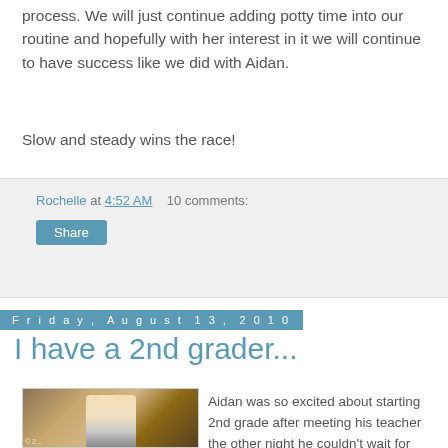process. We will just continue adding potty time into our routine and hopefully with her interest in it we will continue to have success like we did with Aidan.
Slow and steady wins the race!
Rochelle at 4:52 AM   10 comments:
Share
Friday, August 13, 2010
I have a 2nd grader...
[Figure (photo): A young boy wearing a white shirt and shorts with a green backpack, standing in front of a wooden door.]
Aidan was so excited about starting 2nd grade after meeting his teacher the other night he couldn't wait for today to come.

He was up at 6:45 getting ready and changed shirts three times (not to get